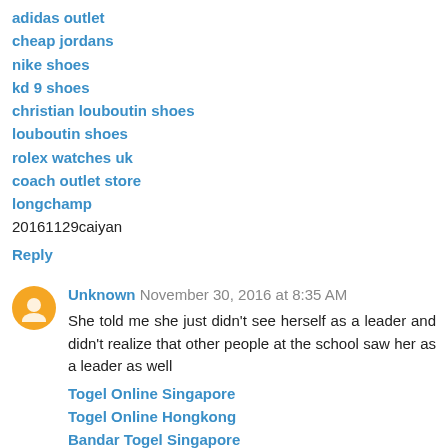adidas outlet
cheap jordans
nike shoes
kd 9 shoes
christian louboutin shoes
louboutin shoes
rolex watches uk
coach outlet store
longchamp
20161129caiyan
Reply
Unknown November 30, 2016 at 8:35 AM
She told me she just didn't see herself as a leader and didn't realize that other people at the school saw her as a leader as well
Togel Online Singapore
Togel Online Hongkong
Bandar Togel Singapore
Bandar Togel
Togel Online Terpercaya